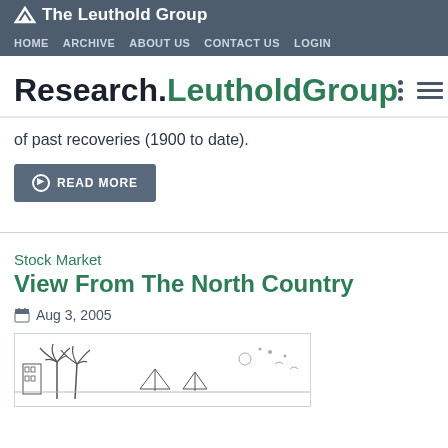The Leuthold Group — HOME  ARCHIVE  ABOUT US  CONTACT US  LOGIN
Research.LeutholdGroup
of past recoveries (1900 to date).
READ MORE
Stock Market
View From The North Country
Aug 3, 2005
[Figure (illustration): Line drawing illustration of palm trees, buildings, sailboats on water, beach scene]